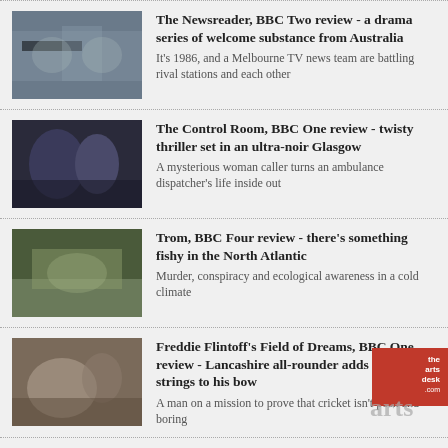The Newsreader, BBC Two review - a drama series of welcome substance from Australia
It's 1986, and a Melbourne TV news team are battling rival stations and each other
The Control Room, BBC One review - twisty thriller set in an ultra-noir Glasgow
A mysterious woman caller turns an ambulance dispatcher's life inside out
Trom, BBC Four review - there's something fishy in the North Atlantic
Murder, conspiracy and ecological awareness in a cold climate
Freddie Flintoff's Field of Dreams, BBC One review - Lancashire all-rounder adds new strings to his bow
A man on a mission to prove that cricket isn't posh and boring
Mick Jagger: My Life as a Rolling Stone review, BBC - the rock'n'roll enigma gives little away as the band turns 60
Impressive archive footage but no new insights